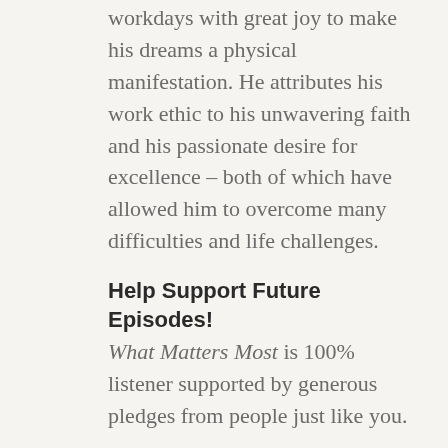workdays with great joy to make his dreams a physical manifestation. He attributes his work ethic to his unwavering faith and his passionate desire for excellence – both of which have allowed him to overcome many difficulties and life challenges.
Help Support Future Episodes!
What Matters Most is 100% listener supported by generous pledges from people just like you.
Did this episode speak to you? Please consider pledging your support for as little as $5.00 per month… or pledge at higher levels and enjoy perks like a guided